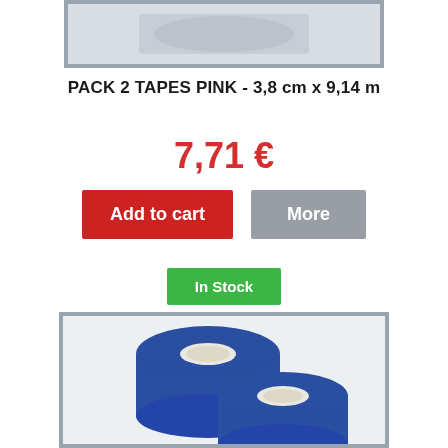[Figure (photo): Top portion of a product image showing a tape/bandage roll, partially visible at the top of the page]
PACK 2 TAPES PINK - 3,8 cm x 9,14 m
7,71 €
Add to cart
More
In Stock
[Figure (photo): Two blue cohesive bandage rolls stacked together, shown on a light background]